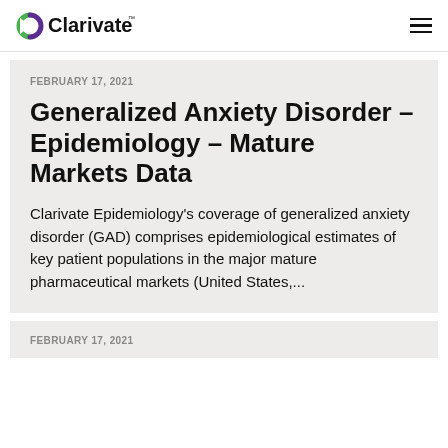Clarivate
FEBRUARY 17, 2021
Generalized Anxiety Disorder – Epidemiology – Mature Markets Data
Clarivate Epidemiology's coverage of generalized anxiety disorder (GAD) comprises epidemiological estimates of key patient populations in the major mature pharmaceutical markets (United States,...
FEBRUARY 17, 2021